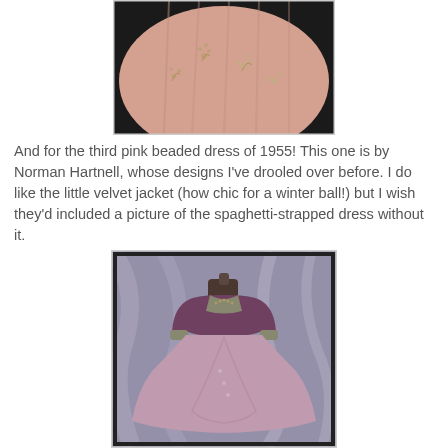[Figure (photo): Close-up of a pink beaded dress fabric with floral/leaf embroidery, close-up detail shot against dark background.]
And for the third pink beaded dress of 1955! This one is by Norman Hartnell, whose designs I've drooled over before. I do like the little velvet jacket (how chic for a winter ball!) but I wish they'd included a picture of the spaghetti-strapped dress without it.
[Figure (photo): Full-length photo of a pink/mauve Norman Hartnell ballgown with velvet jacket displayed on a mannequin against a draped fabric background.]